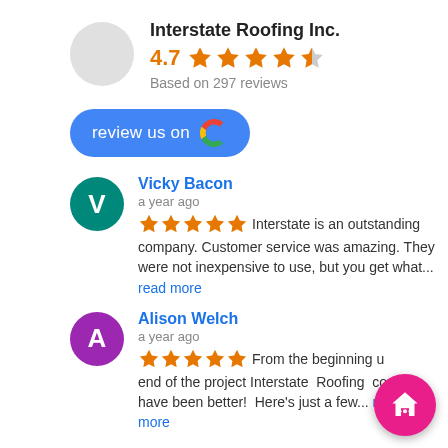Interstate Roofing Inc.
4.7 ★★★★½ Based on 297 reviews
[Figure (screenshot): Review us on Google button]
Vicky Bacon
a year ago
★★★★★ Interstate is an outstanding company. Customer service was amazing. They were not inexpensive to use, but you get what... read more
Alison Welch
a year ago
★★★★★ From the beginning until the end of the project Interstate Roofing could not have been better! Here's just a few... read more